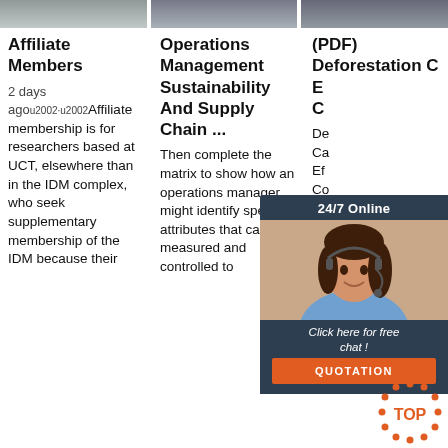[Figure (photo): Three thumbnail images in a horizontal strip at the top of the page]
Affiliate Members
2 days agou2002·u2002Affiliate membership is for researchers based at UCT, elsewhere than in the IDM complex, who seek supplementary membership of the IDM because their
Operations Management Sustainability And Supply Chain ...
Then complete the matrix to show how an operations manager might identify specific attributes that can be measured and controlled to
(PDF) Deforestation C E C St Global Perspectives on Sustainable Forest Management,
[Figure (infographic): 24/7 Online chat widget with customer service agent photo, 'Click here for free chat!' message, and QUOTATION button]
[Figure (logo): Orange TOP badge with dots arranged in a circle around the letters TOP]